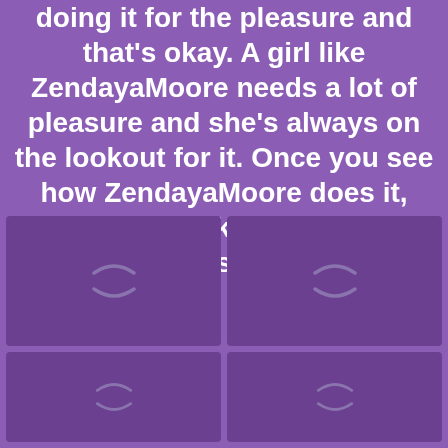doing it for the pleasure and that's okay. A girl like ZendayaMoore needs a lot of pleasure and she's always on the lookout for it. Once you see how ZendayaMoore does it, you'll never look for it anywhere else.
[Figure (photo): 2x2 grid of image thumbnails with loading spinners on purple background, showing 4 partially loaded image placeholders]